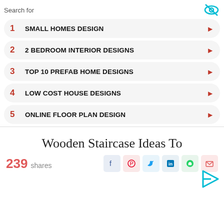Search for
1  SMALL HOMES DESIGN
2  2 BEDROOM INTERIOR DESIGNS
3  TOP 10 PREFAB HOME DESIGNS
4  LOW COST HOUSE DESIGNS
5  ONLINE FLOOR PLAN DESIGN
Wooden Staircase Ideas To
239 shares